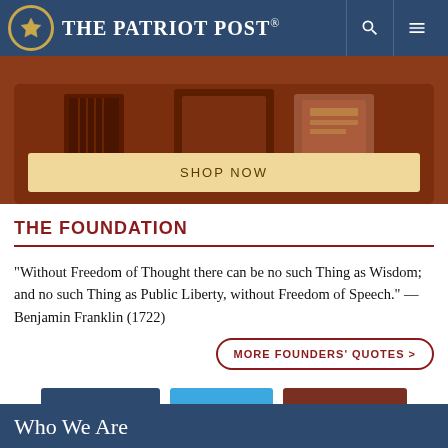The Patriot Post
[Figure (illustration): Decorative shop banner with book-like elements on a dark red/brown background with a 'SHOP NOW' button]
THE FOUNDATION
“Without Freedom of Thought there can be no such Thing as Wisdom; and no such Thing as Public Liberty, without Freedom of Speech.” —Benjamin Franklin (1722)
MORE FOUNDERS’ QUOTES >
FACEBOOK   TWITTER   INSTAGRAM
Who We Are